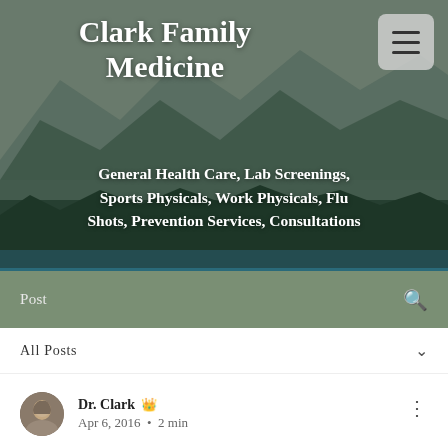[Figure (screenshot): Clark Family Medicine website header with mountain landscape background, showing site title and services listed]
Clark Family Medicine
General Health Care, Lab Screenings, Sports Physicals, Work Physicals, Flu Shots, Prevention Services, Consultations
Post
All Posts
Dr. Clark 👑 Apr 6, 2016 • 2 min
DREAMING WITH GOD BY BILL JOHNSON (BR